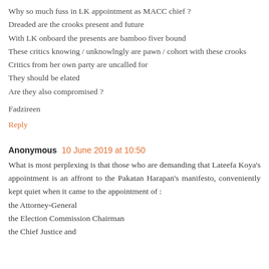Why so much fuss in LK appointment as MACC chief ?
Dreaded are the crooks present and future
With LK onboard the presents are bamboo fiver bound
These critics knowing / unknowlngly are pawn / cohort with these crooks
Critics from her own party are uncalled for
They should be elated
Are they also compromised ?
Fadzireen
Reply
Anonymous  10 June 2019 at 10:50
What is most perplexing is that those who are demanding that Lateefa Koya's appointment is an affront to the Pakatan Harapan's manifesto, conveniently kept quiet when it came to the appointment of :
the Attorney-General
the Election Commission Chairman
the Chief Justice and